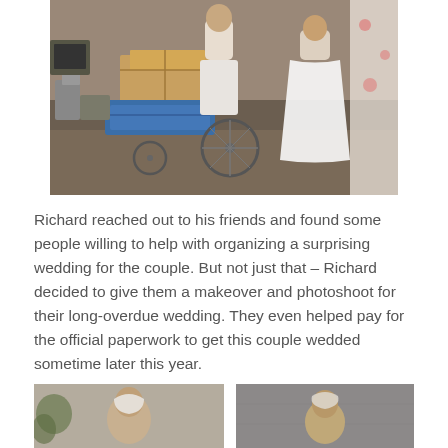[Figure (photo): A couple in wedding attire posing among junk and debris. The groom is seated on or near a wheelchair/cart loaded with cardboard boxes, and the bride wears a white dress. They are outdoors surrounded by discarded items.]
Richard reached out to his friends and found some people willing to help with organizing a surprising wedding for the couple. But not just that – Richard decided to give them a makeover and photoshoot for their long-overdue wedding. They even helped pay for the official paperwork to get this couple wedded sometime later this year.
[Figure (photo): Bottom left photo: An elderly person, possibly the bride or groom, photographed outdoors against a light background.]
[Figure (photo): Bottom right photo: An elderly person photographed against a textured concrete wall background.]